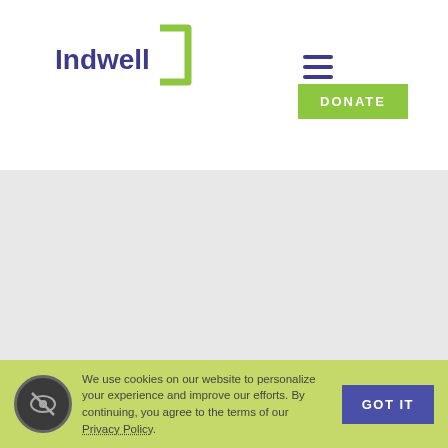[Figure (logo): Indwell logo with stylized green bracket/chevron shape next to the word Indwell in dark blue/purple]
[Figure (infographic): Hamburger menu icon (three horizontal lines) in dark blue/purple]
DONATE
DONATE
““
We use cookies on our website to personalize your experience and improve our efforts. By continuing, you agree to the terms of our Privacy Policy.
GOT IT